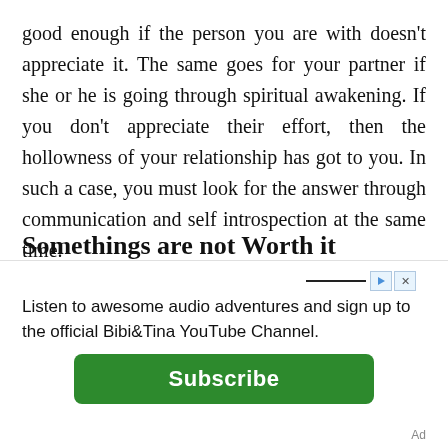good enough if the person you are with doesn't appreciate it. The same goes for your partner if she or he is going through spiritual awakening. If you don't appreciate their effort, then the hollowness of your relationship has got to you. In such a case, you must look for the answer through communication and self introspection at the same time.
Somethings are not Worth it
Whether it is worth it to be in a relationship is also something you must ask yourself if you're going through a turmoil. Sometimes the person that we are seeing is too
Listen to awesome audio adventures and sign up to the official Bibi&Tina YouTube Channel.
Subscribe